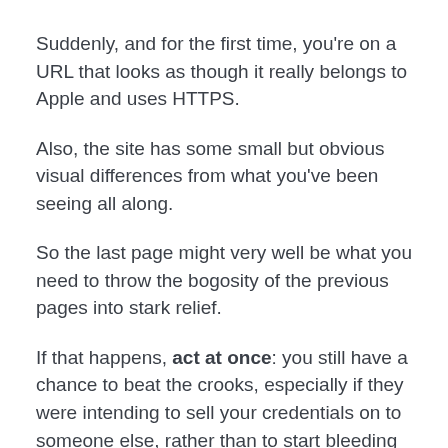Suddenly, and for the first time, you're on a URL that looks as though it really belongs to Apple and uses HTTPS.
Also, the site has some small but obvious visual differences from what you've been seeing all along.
So the last page might very well be what you need to throw the bogosity of the previous pages into stark relief.
If that happens, act at once: you still have a chance to beat the crooks, especially if they were intending to sell your credentials on to someone else, rather than to start bleeding you themselves.
Call your card issuer, and use the number printed on